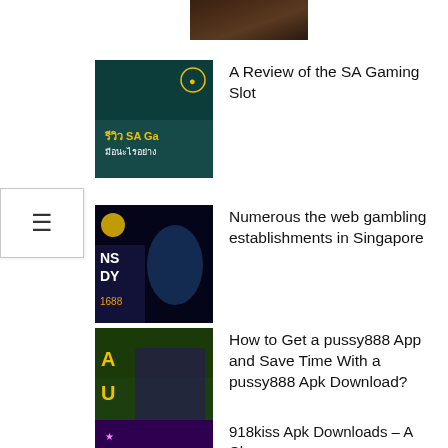[Figure (photo): Partial thumbnail image at top, dark brownish background]
[Figure (photo): SA Gaming slot review thumbnail with woman and Thai text on dark green background]
A Review of the SA Gaming Slot
[Figure (photo): Online gambling establishments thumbnail with genie/fantasy character on dark purple/blue background]
Numerous the web gambling establishments in Singapore
[Figure (photo): Pussy888 slot game thumbnail with slot machine graphics on green/purple background]
How to Get a pussy888 App and Save Time With a pussy888 Apk Download?
[Figure (photo): 918kiss apk downloads thumbnail with woman on purple background]
918kiss Apk Downloads – A Closer